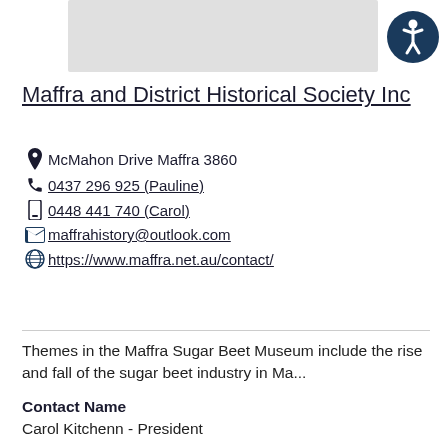[Figure (map): Partial map view at top of page]
[Figure (illustration): Circular accessibility icon button with person figure, dark blue background, top right corner]
Maffra and District Historical Society Inc
McMahon Drive Maffra 3860
0437 296 925 (Pauline)
0448 441 740 (Carol)
maffrahistory@outlook.com
https://www.maffra.net.au/contact/
Themes in the Maffra Sugar Beet Museum include the rise and fall of the sugar beet industry in Ma...
Contact Name
Carol Kitchenn - President
[Figure (logo): Logo with olive/dark green background and triangular green and yellow design]